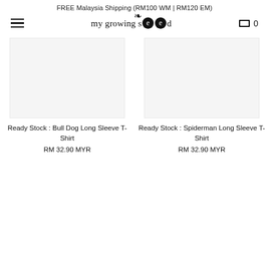FREE Malaysia Shipping (RM100 WM | RM120 EM)
[Figure (logo): my growing seed logo with hamburger menu and cart icon showing 0]
Ready Stock : Bull Dog Long Sleeve T-Shirt
RM 32.90 MYR
Ready Stock : Spiderman Long Sleeve T-Shirt
RM 32.90 MYR